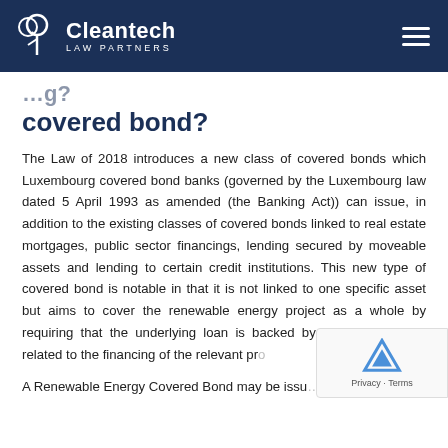Cleantech Law Partners
covered bond?
The Law of 2018 introduces a new class of covered bonds which Luxembourg covered bond banks (governed by the Luxembourg law dated 5 April 1993 as amended (the Banking Act)) can issue, in addition to the existing classes of covered bonds linked to real estate mortgages, public sector financings, lending secured by moveable assets and lending to certain credit institutions. This new type of covered bond is notable in that it is not linked to one specific asset but aims to cover the renewable energy project as a whole by requiring that the underlying loan is backed by all critical assets related to the financing of the relevant pr...
A Renewable Energy Covered Bond may be issu...